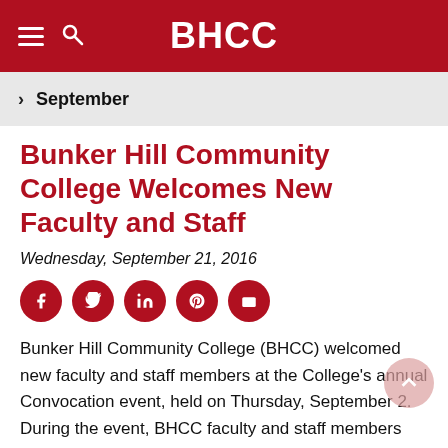BHCC
September
Bunker Hill Community College Welcomes New Faculty and Staff
Wednesday, September 21, 2016
Bunker Hill Community College (BHCC) welcomed new faculty and staff members at the College's annual Convocation event, held on Thursday, September 2. During the event, BHCC faculty and staff members gathered together to